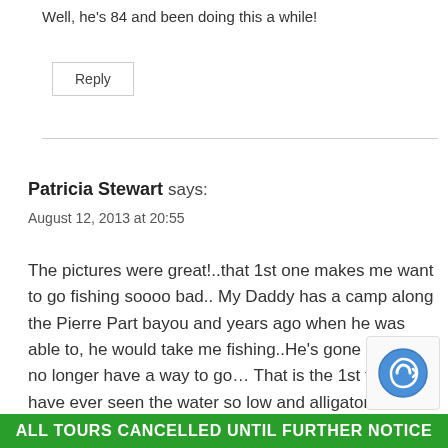Well, he's 84 and been doing this a while!
Reply
Patricia Stewart says:
August 12, 2013 at 20:55
The pictures were great!..that 1st one makes me want to go fishing soooo bad.. My Daddy has a camp along the Pierre Part bayou and years ago when he was able to, he would take me fishing..He's gone now, so I no longer have a way to go… That is the 1st time I have ever seen the water so low and alligator nest too. Interesting info about the allig…
ALL TOURS CANCELLED UNTIL FURTHER NOTICE